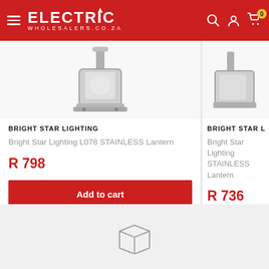ELECTRIC WHOLESALERS.CO.ZA
[Figure (photo): Product image of Bright Star Lighting L078 STAINLESS Lantern, metallic silver wall lantern]
BRIGHT STAR LIGHTING
Bright Star Lighting L078 STAINLESS Lantern
R 798
Add to cart
[Figure (photo): Partial view of second product card showing Bright Star Lighting STAINLESS Lantern]
BRIGHT STAR LIGHTING
Bright Star Lighting STAINLESS Lantern
R 736
Add to
[Figure (illustration): Package/box delivery icon at the bottom of the page]